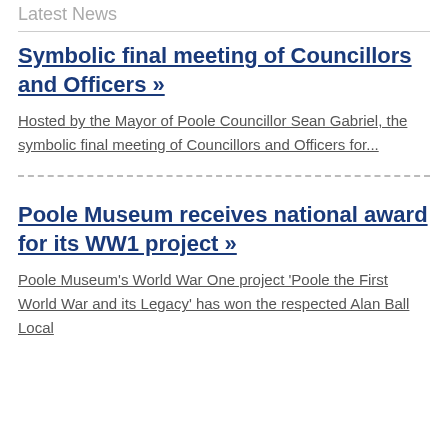Latest News
Symbolic final meeting of Councillors and Officers »
Hosted by the Mayor of Poole Councillor Sean Gabriel, the symbolic final meeting of Councillors and Officers for...
Poole Museum receives national award for its WW1 project »
Poole Museum's World War One project 'Poole the First World War and its Legacy' has won the respected Alan Ball Local